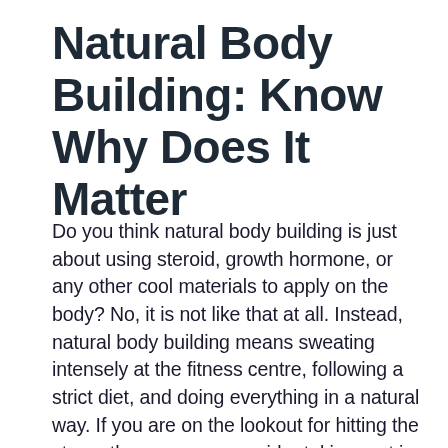Natural Body Building: Know Why Does It Matter
Do you think natural body building is just about using steroid, growth hormone, or any other cool materials to apply on the body? No, it is not like that at all. Instead, natural body building means sweating intensely at the fitness centre, following a strict diet, and doing everything in a natural way. If you are on the lookout for hitting the stage, then you can consider taking part in natural bodybuilding competitions where participants are reviewed on the basis of